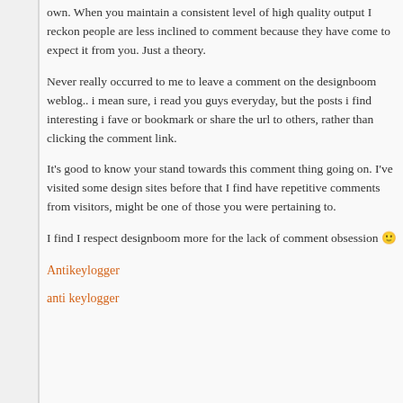own. When you maintain a consistent level of high quality output I reckon people are less inclined to comment because they have come to expect it from you. Just a theory.
Never really occurred to me to leave a comment on the designboom weblog.. i mean sure, i read you guys everyday, but the posts i find interesting i fave or bookmark or share the url to others, rather than clicking the comment link.
It's good to know your stand towards this comment thing going on. I've visited some design sites before that I find have repetitive comments from visitors, might be one of those you were pertaining to.
I find I respect designboom more for the lack of comment obsession 🙂
Antikeylogger
anti keylogger